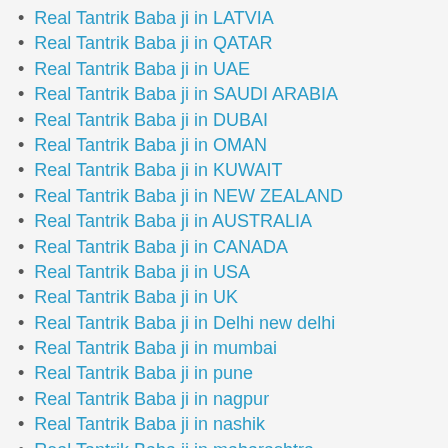Real Tantrik Baba ji in LATVIA
Real Tantrik Baba ji in QATAR
Real Tantrik Baba ji in UAE
Real Tantrik Baba ji in SAUDI ARABIA
Real Tantrik Baba ji in DUBAI
Real Tantrik Baba ji in OMAN
Real Tantrik Baba ji in KUWAIT
Real Tantrik Baba ji in NEW ZEALAND
Real Tantrik Baba ji in AUSTRALIA
Real Tantrik Baba ji in CANADA
Real Tantrik Baba ji in USA
Real Tantrik Baba ji in UK
Real Tantrik Baba ji in Delhi new delhi
Real Tantrik Baba ji in mumbai
Real Tantrik Baba ji in pune
Real Tantrik Baba ji in nagpur
Real Tantrik Baba ji in nashik
Real Tantrik Baba ji in maharashtra
Real Tantrik Baba ji in Dehradhun
Real Tantrik Baba ji in uttrakhand
Real Tantrik Baba ji in uttranchal
Real Tantrik Baba ji in himachal pradesh
Real Tantrik Baba ji in jammu and kashmir